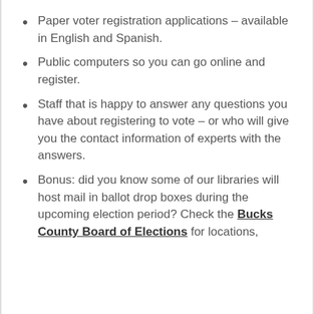Paper voter registration applications – available in English and Spanish.
Public computers so you can go online and register.
Staff that is happy to answer any questions you have about registering to vote – or who will give you the contact information of experts with the answers.
Bonus: did you know some of our libraries will host mail in ballot drop boxes during the upcoming election period? Check the Bucks County Board of Elections for locations,